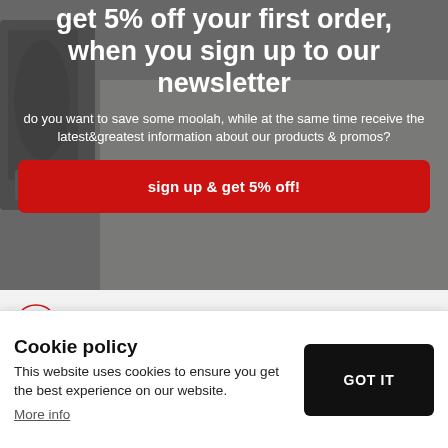get 5% off your first order, when you sign up to our newsletter
do you want to save some moolah, while at the same time receive the latest&greatest information about our products & promos?
sign up & get 5% off!
returns & refunds
check out our returns & refunds policy before
Cookie policy
This website uses cookies to ensure you get the best experience on our website.
More info
GOT IT